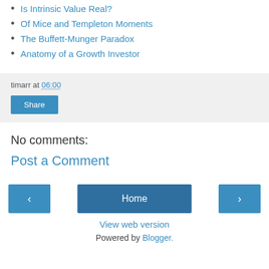Is Intrinsic Value Real?
Of Mice and Templeton Moments
The Buffett-Munger Paradox
Anatomy of a Growth Investor
timarr at 06:00
Share
No comments:
Post a Comment
Home
View web version
Powered by Blogger.